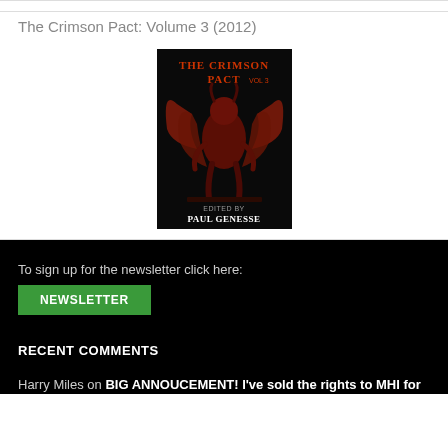The Crimson Pact: Volume 3 (2012)
[Figure (illustration): Book cover of The Crimson Pact Vol. 3, edited by Paul Genesse, featuring a dark fantasy creature with wings on a black background.]
To sign up for the newsletter click here:
NEWSLETTER
RECENT COMMENTS
Harry Miles on BIG ANNOUCEMENT! I've sold the rights to MHI for